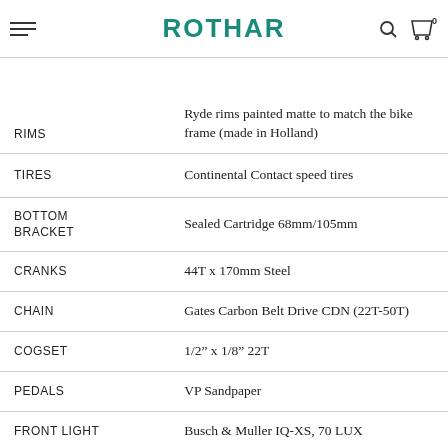ROTHAR
| Component | Specification |
| --- | --- |
| SPOKES | 13G Stainless Steel, 36 Spokes |
| RIMS | Ryde rims painted matte to match the bike frame (made in Holland) |
| TIRES | Continental Contact speed tires |
| BOTTOM BRACKET | Sealed Cartridge 68mm/105mm |
| CRANKS | 44T x 170mm Steel |
| CHAIN | Gates Carbon Belt Drive CDN (22T-50T) |
| COGSET | 1/2” x 1/8” 22T |
| PEDALS | VP Sandpaper |
| FRONT LIGHT | Busch & Muller IQ-XS, 70 LUX |
| REAR LIGHT | Busch & Muller built into Curana CLite Fenders |